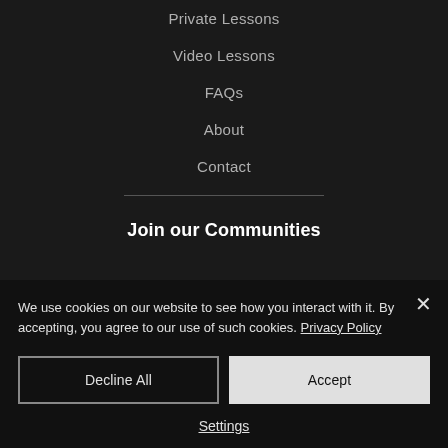Private Lessons
Video Lessons
FAQs
About
Contact
Join our Communities
We use cookies on our website to see how you interact with it. By accepting, you agree to our use of such cookies. Privacy Policy
Decline All
Accept
Settings